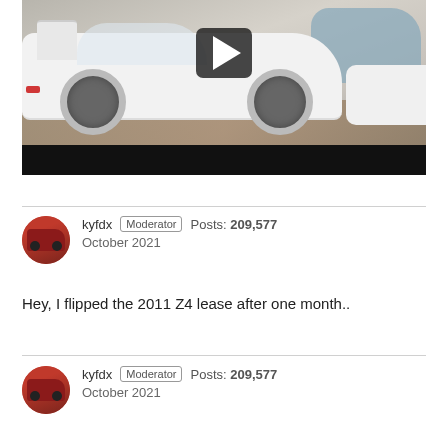[Figure (photo): Video thumbnail showing a white Lamborghini Countach sports car in a showroom with other cars in the background, with a play button overlay. A black bar at the bottom.]
kyfdx  Moderator  Posts: 209,577
October 2021

Hey, I flipped the 2011 Z4 lease after one month..
kyfdx  Moderator  Posts: 209,577
October 2021